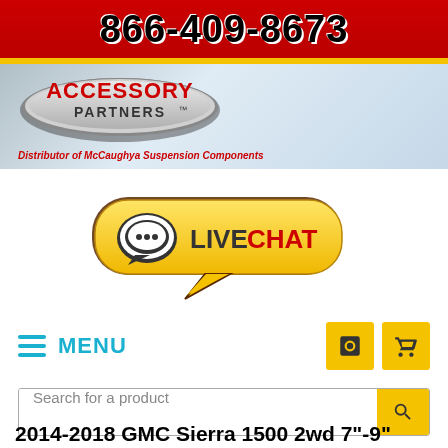[Figure (logo): Accessory Partners logo with phone number 866-409-8673 on red banner, oval logo with brand name, distributor tagline]
[Figure (infographic): Live Chat button with speech bubble icon, yellow rounded rectangle with LIVE CHAT text]
≡ MENU
Search for a product
2014-2018 GMC Sierra 1500 2wd 7"-9"